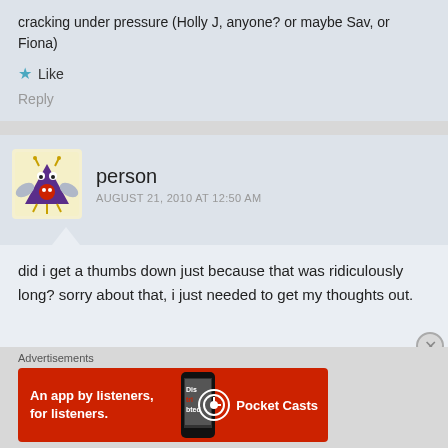cracking under pressure (Holly J, anyone? or maybe Sav, or Fiona)
Like
Reply
person
AUGUST 21, 2010 AT 12:50 AM
did i get a thumbs down just because that was ridiculously long? sorry about that, i just needed to get my thoughts out.
Advertisements
[Figure (illustration): Purple monster/robot avatar icon with wings and red dot on triangular body, on cream background]
[Figure (screenshot): Pocket Casts advertisement banner: red background, text 'An app by listeners, for listeners.' with phone image and Pocket Casts logo]